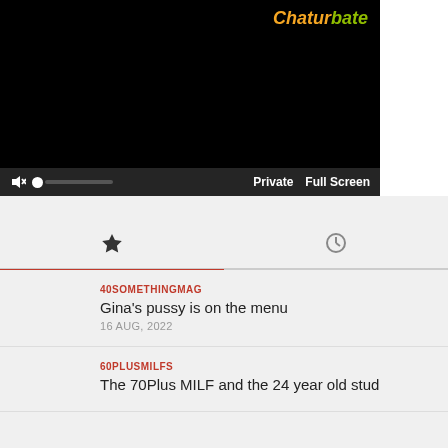[Figure (screenshot): Black video player with Chaturbate logo in top right, mute icon, volume slider, Private and Full Screen controls at bottom]
[Figure (screenshot): Tab navigation with star icon (active, red underline) and clock icon (inactive)]
40SOMETHINGMAG
Gina's pussy is on the menu
16 AUG, 2022
60PLUSMILFS
The 70Plus MILF and the 24 year old stud